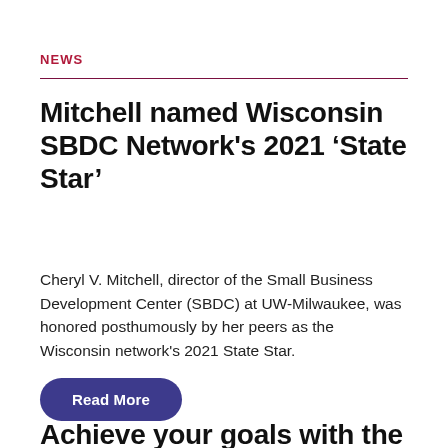NEWS
Mitchell named Wisconsin SBDC Network's 2021 ‘State Star’
Cheryl V. Mitchell, director of the Small Business Development Center (SBDC) at UW-Milwaukee, was honored posthumously by her peers as the Wisconsin network's 2021 State Star.
Read More
Achieve your goals with the